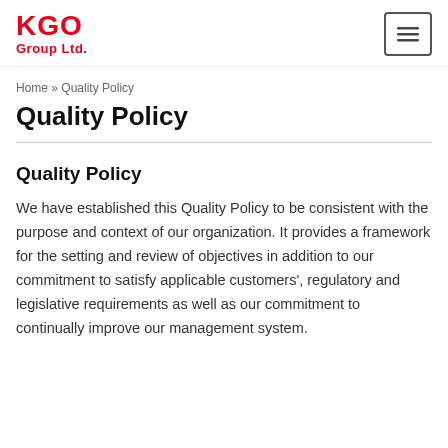KGO Group Ltd.
Home » Quality Policy
Quality Policy
Quality Policy
We have established this Quality Policy to be consistent with the purpose and context of our organization. It provides a framework for the setting and review of objectives in addition to our commitment to satisfy applicable customers', regulatory and legislative requirements as well as our commitment to continually improve our management system.